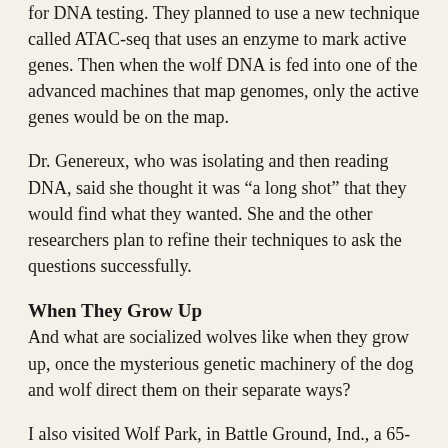for DNA testing. They planned to use a new technique called ATAC-seq that uses an enzyme to mark active genes. Then when the wolf DNA is fed into one of the advanced machines that map genomes, only the active genes would be on the map.
Dr. Genereux, who was isolating and then reading DNA, said she thought it was “a long shot” that they would find what they wanted. She and the other researchers plan to refine their techniques to ask the questions successfully.
When They Grow Up
And what are socialized wolves like when they grow up, once the mysterious genetic machinery of the dog and wolf direct them on their separate ways?
I also visited Wolf Park, in Battle Ground, Ind., a 65-acre zoo and research facility where Dana Drenzek, the manager, and Pat Goodmann, the senior animal curator, took me around and introduced me not only to puppies they were socializing, but to some adult wolves.
In the 1970s, Ms. Goodmann worked with Erich Klinghammer, the